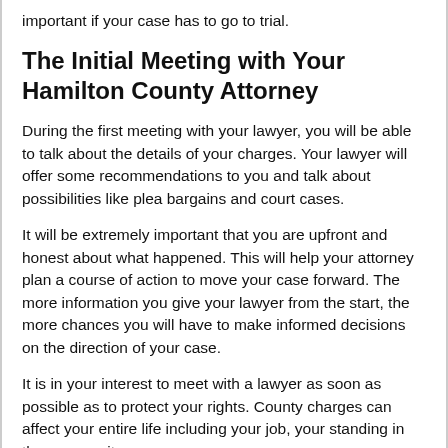important if your case has to go to trial.
The Initial Meeting with Your Hamilton County Attorney
During the first meeting with your lawyer, you will be able to talk about the details of your charges. Your lawyer will offer some recommendations to you and talk about possibilities like plea bargains and court cases.
It will be extremely important that you are upfront and honest about what happened. This will help your attorney plan a course of action to move your case forward. The more information you give your lawyer from the start, the more chances you will have to make informed decisions on the direction of your case.
It is in your interest to meet with a lawyer as soon as possible as to protect your rights. County charges can affect your entire life including your job, your standing in the community